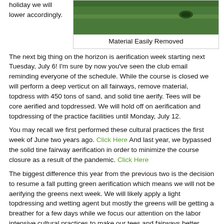holiday we will lower accordingly.
[Figure (photo): Close-up photo of green grass with a golf hole/cup visible, labeled 'Material Easily Removed']
Material Easily Removed
The next big thing on the horizon is aerification week starting next Tuesday, July 6!  I'm sure by now you've seen the club email reminding everyone of the schedule.  While the course is closed we will perform a deep verticut on all fairways, remove material, topdress with 450 tons of sand, and solid tine aerify.  Tees will be core aerified and topdressed.  We will hold off on aerification and topdressing of the practice facilities until Monday, July 12.
You may recall we first performed these cultural practices the first week of June two years ago. Click Here  And last year, we bypassed the solid tine fairway aerification in order to minimize the course closure as a result of the pandemic. Click Here
The biggest difference this year from the previous two is the decision to resume a fall putting green aerification which means we will not be aerifying the greens next week.  We will likely apply a light topdressing and wetting agent but mostly the greens will be getting a breather for a few days while we focus our attention on the labor intensive cultural practices to make our tees and fairways better.
That's all for now, we're mowing the warm-season native areas (bermuda) this week while the weather is perfect for promoting...